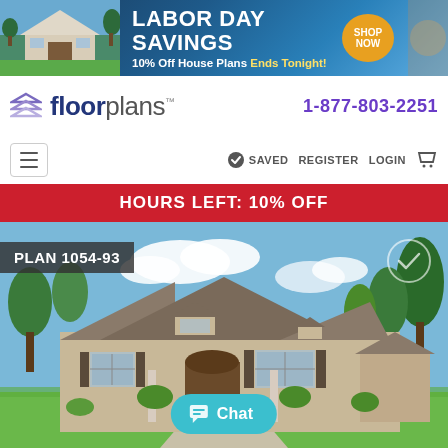[Figure (screenshot): Labor Day Savings banner advertisement: '10% Off House Plans Ends Tonight!' with blue gradient background and house image on left, SHOP NOW badge on right]
[Figure (logo): Floorplans logo with layered chevron icon in purple/gray, bold 'floor' in dark navy and 'plans' in light gray, TM superscript]
1-877-803-2251
SAVED  REGISTER  LOGIN
HOURS LEFT: 10% OFF
[Figure (photo): Large exterior photo of a luxury two-story brick and stone house with curved driveway, green lawn, and trees in background. Plan label '1054-93' in dark overlay on upper left.]
PLAN 1054-93
Chat